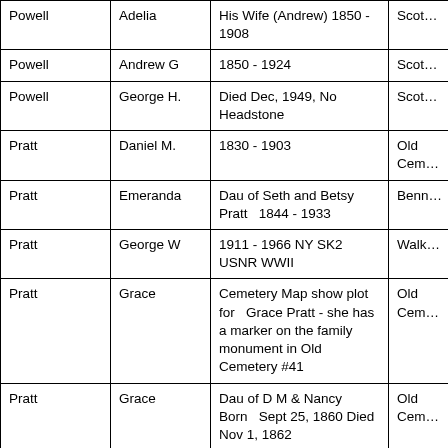| Last Name | First Name | Details | Cemetery |
| --- | --- | --- | --- |
| Powell | Adelia | His Wife (Andrew) 1850 - 1908 | Scot… |
| Powell | Andrew G | 1850 - 1924 | Scot… |
| Powell | George H. | Died Dec, 1949, No Headstone | Scot… |
| Pratt | Daniel M. | 1830 - 1903 | Old Cem… |
| Pratt | Emeranda | Dau of Seth and Betsy Pratt   1844 - 1933 | Benn… |
| Pratt | George W | 1911 - 1966 NY SK2 USNR WWII | Walk… |
| Pratt | Grace | Cemetery Map show plot for   Grace Pratt - she has a marker on the family monument in Old Cemetery #41 | Old Cem… |
| Pratt | Grace | Dau of D M & Nancy Born   Sept 25, 1860 Died Nov 1, 1862 | Old Cem… |
| Pratt | Harriett R. | 1842 - 1908 | Scot… |